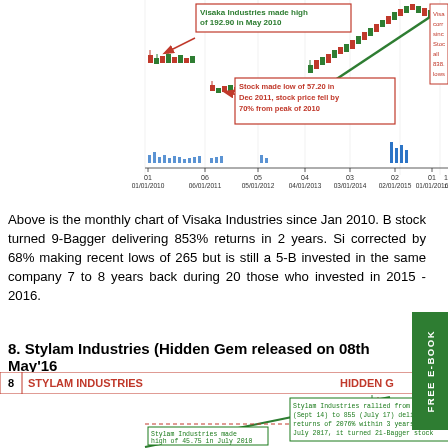[Figure (continuous-plot): Monthly candlestick chart of Visaka Industries from Jan 2010 to Nov 2016+, showing price rally from low ~57 in Dec 2011, high of 192.90 in May 2010, and annotations about stock performance. Green trend line visible. X-axis dates from 01/01/2010 to 11/01/2016+.]
Above is the monthly chart of Visaka Industries since Jan 2010. B stock turned 9-Bagger delivering 853% returns in 2 years. Si corrected by 68% making recent lows of 265 but is still a 5-B invested in the same company 7 to 8 years back during 20 those who invested in 2015 - 2016.
8. Stylam Industries (Hidden Gem released on 08th May'16
[Figure (continuous-plot): Monthly candlestick chart of Stylam Industries showing rally from 39.30 (Sept 14) to 855 (July 17) delivering 2076% returns in 3 years. Green diagonal trend line. Annotation boxes describe 21-Bagger from Sept 2014 lows and 64-Bagger from Nov 2011. High of 45.75 in July 2010 marked. Red dashed horizontal reference line. Header bar shows '8 STYLAM INDUSTRIES HIDDEN G'.]